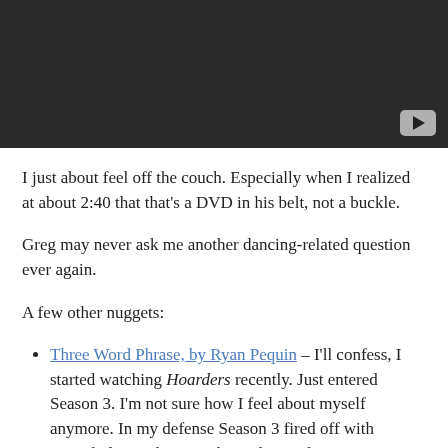[Figure (screenshot): Embedded video player with dark background and YouTube play button in bottom-right corner]
I just about feel off the couch. Especially when I realized at about 2:40 that that's a DVD in his belt, not a buckle.
Greg may never ask me another dancing-related question ever again.
A few other nuggets:
Three Word Phrase, by Ryan Pequin – I'll confess, I started watching Hoarders recently. Just entered Season 3. I'm not sure how I feel about myself anymore. In my defense Season 3 fired off with enough drama that I've skipped episodes.
Autumnal equinox – It's almost time to break out the